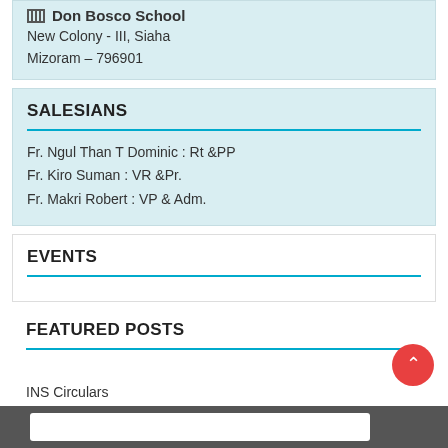Don Bosco School
New Colony - III, Siaha
Mizoram – 796901
SALESIANS
Fr. Ngul Than T Dominic : Rt &PP
Fr. Kiro Suman : VR &Pr.
Fr. Makri Robert : VP & Adm.
EVENTS
FEATURED POSTS
INS Circulars